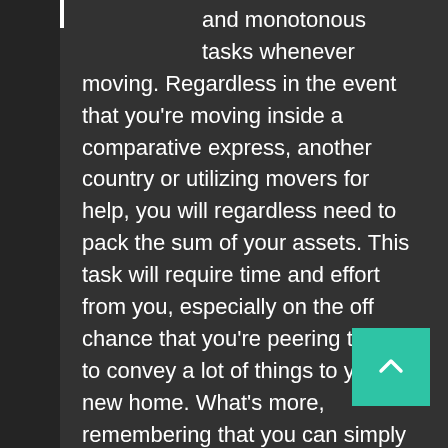and monotonous tasks whenever moving. Regardless in the event that you're moving inside a comparative express, another country or utilizing movers for help, you will regardless need to pack the sum of your assets. This task will require time and effort from you, especially on the off chance that you're peering toward to convey a lot of things to your new home. What's more, remembering that you can simply stack your pieces of clothing with boxes and tape, the comparable presumably will not be certified when you pack glassware. These are sensitive pieces which will demand careful thought and orchestrating from you. This task can be trying, yet it ought to reliably be